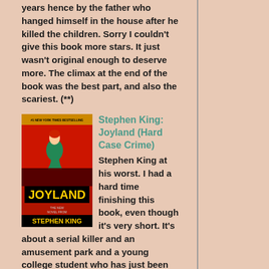years hence by the father who hanged himself in the house after he killed the children. Sorry I couldn't give this book more stars. It just wasn't original enough to deserve more. The climax at the end of the book was the best part, and also the scariest. (**)
[Figure (photo): Book cover for Joyland by Stephen King (Hard Case Crime) showing a woman in a green dress at an amusement park with the title in yellow text]
Stephen King: Joyland (Hard Case Crime)
Stephen King at his worst. I had a hard time finishing this book, even though it's very short. It's about a serial killer and an amusement park and a young college student who has just been dumped by his girlfriend. All these elements come together, but not for a very interesting story. There's a ghost and there's a mystery, but who cares? The only suspense comes in the last few pages and doesn't last very long. Don't